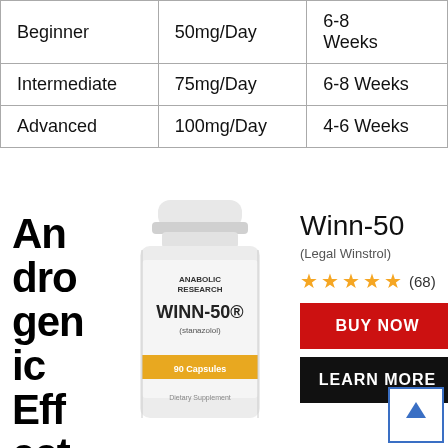| Level | Dose | Duration |
| --- | --- | --- |
| Beginner | 50mg/Day | 6-8 Weeks |
| Intermediate | 75mg/Day | 6-8 Weeks |
| Advanced | 100mg/Day | 4-6 Weeks |
Androgenic Effects
[Figure (photo): White supplement bottle labeled WINN-50 (stanazolol) by Anabolic Research, 90 Capsules dietary supplement, with gold band]
Winn-50
(Legal Winstrol)
★★★★★ (68)
BUY NOW
LEARN MORE